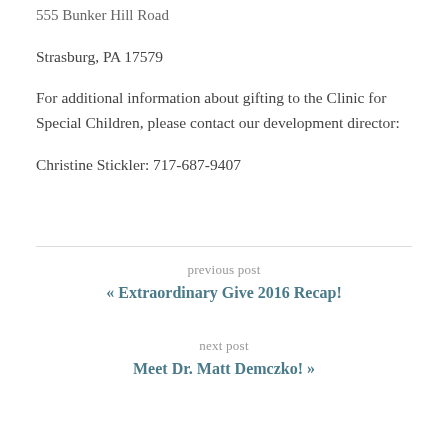555 Bunker Hill Road
Strasburg, PA 17579
For additional information about gifting to the Clinic for Special Children, please contact our development director:
Christine Stickler: 717-687-9407
previous post
« Extraordinary Give 2016 Recap!
next post
Meet Dr. Matt Demczko! »